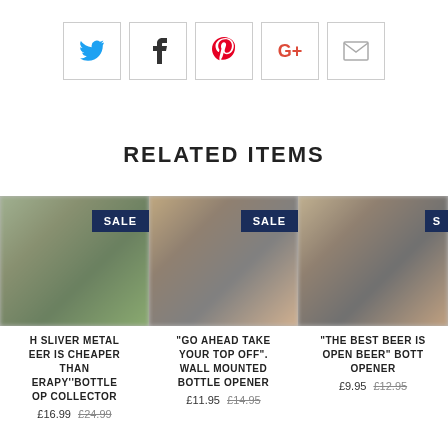[Figure (infographic): Social sharing buttons: Twitter (blue bird), Facebook (f), Pinterest (p), Google+ (G+), Email (envelope), each in a square outlined box]
RELATED ITEMS
[Figure (photo): Blurred product image with SALE badge - 'H SLIVER METAL EER IS CHEAPER THAN ERAPY''BOTTLE OP COLLECTOR' priced £16.99, was £24.99]
[Figure (photo): Blurred product image with SALE badge - 'GO AHEAD TAKE YOUR TOP OFF'. WALL MOUNTED BOTTLE OPENER priced £11.95, was £14.95]
[Figure (photo): Blurred product image with SALE badge partially visible - 'THE BEST BEER IS OPEN BEER' BOTTLE OPENER priced £9.95, was £12.95]